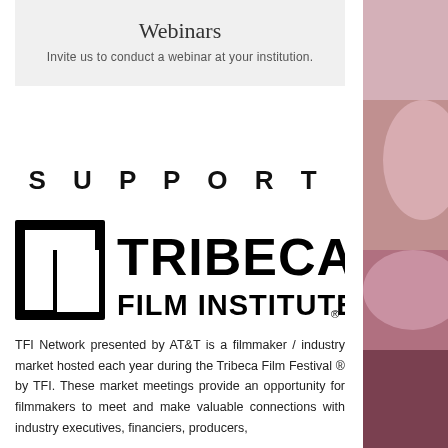Webinars
Invite us to conduct a webinar at your institution.
SUPPORT
[Figure (logo): Tribeca Film Institute logo with square bracket icon and bold text]
TFI Network presented by AT&T is a filmmaker / industry market hosted each year during the Tribeca Film Festival ® by TFI. These market meetings provide an opportunity for filmmakers to meet and make valuable connections with industry executives, financiers, producers,